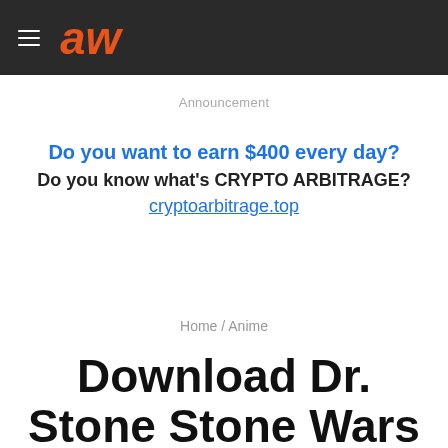≡ aw (logo)
Announcement
[Figure (other): Advertisement banner: 'Do you want to earn $400 every day? Do you know what's CRYPTO ARBITRAGE? cryptoarbitrage.top']
Home / Anime
Download Dr. Stone Stone Wars (Season 2) English Dub & Sub